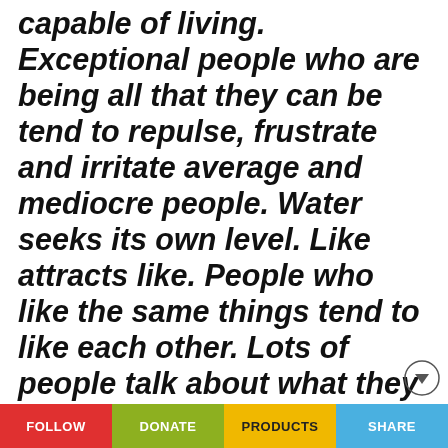capable of living. Exceptional people who are being all that they can be tend to repulse, frustrate and irritate average and mediocre people. Water seeks its own level. Like attracts like. People who like the same things tend to like each other. Lots of people talk about what they are going to do, but few actually have the
FOLLOW   DONATE   PRODUCTS   SHARE